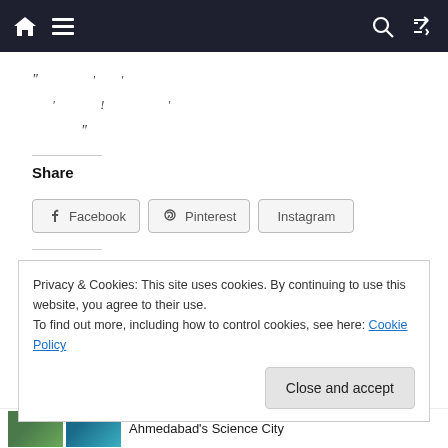Navigation bar with home, menu, search, and shuffle icons
“’ , ‘ , ‘ ’ ! ’ ”
Share
Facebook  Pinterest  Instagram
Like this:
Privacy & Cookies: This site uses cookies. By continuing to use this website, you agree to their use.
To find out more, including how to control cookies, see here: Cookie Policy
Close and accept
Ahmedabad’s Science City